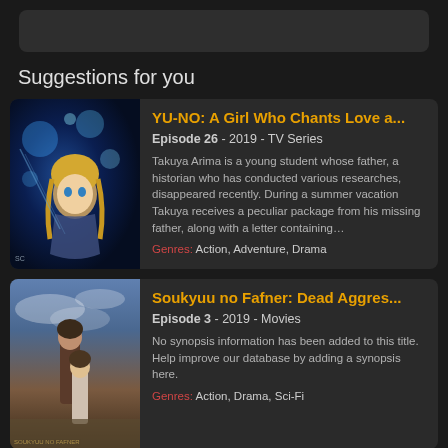Suggestions for you
[Figure (illustration): Anime artwork for YU-NO: A Girl Who Chants Love at the Bound of this World, showing a blonde girl with glowing blue orbs]
YU-NO: A Girl Who Chants Love a...
Episode 26 - 2019 - TV Series
Takuya Arima is a young student whose father, a historian who has conducted various researches, disappeared recently. During a summer vacation Takuya receives a peculiar package from his missing father, along with a letter containing...
Genres: Action, Adventure, Drama
[Figure (illustration): Anime artwork for Soukyuu no Fafner: Dead Aggressor, showing two characters against a cloudy sky]
Soukyuu no Fafner: Dead Aggres...
Episode 3 - 2019 - Movies
No synopsis information has been added to this title. Help improve our database by adding a synopsis here.
Genres: Action, Drama, Sci-Fi